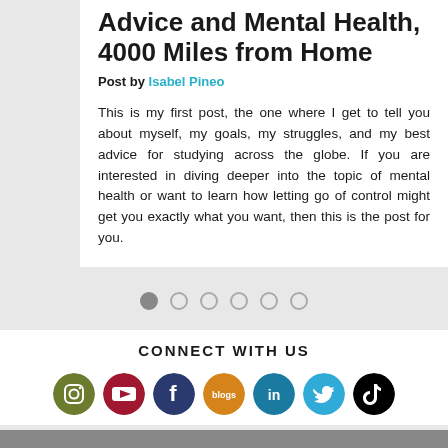Advice and Mental Health, 4000 Miles from Home
Post by Isabel Pineo
This is my first post, the one where I get to tell you about myself, my goals, my struggles, and my best advice for studying across the globe. If you are interested in diving deeper into the topic of mental health or want to learn how letting go of control might get you exactly what you want, then this is the post for you.
[Figure (other): Pagination dots: 6 circles, first filled/active, rest hollow]
CONNECT WITH US
[Figure (other): Social media icons row: Instagram (olive green), YouTube (red), Facebook (dark blue), Blogs (orange), LinkedIn (teal blue), Twitter (light blue), TikTok (black)]